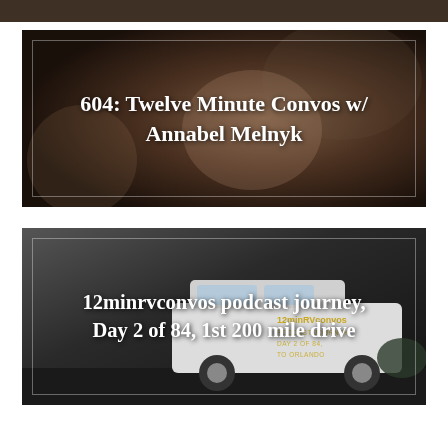[Figure (photo): Partial top strip of a dark brownish image, cropped at the very top of the page]
[Figure (photo): Dark-toned thumbnail image showing a person with glasses resting their hand near their face, with a decorative background]
604: Twelve Minute Convos w/ Annabel Melnyk
[Figure (photo): Dark-toned thumbnail image showing a white SUV/van with '12minRVconvos PODCAST JOURNEY DAY 2 OF 84 TO ORLANDO' text on its side]
12minrvconvos podcast journey, Day 2 of 84, 1st 200 mile drive